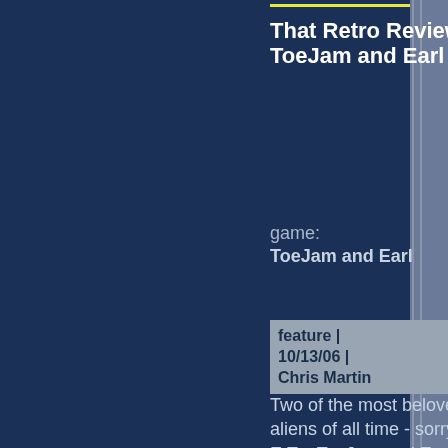That Retro Review: ToeJam and Earl
game: ToeJam and Earl
feature | 10/13/06 | Chris Martin
Two of the most beloved aliens of all time - sorry E.T. - ToeJam and Earl have been through a lot together: two sequels,